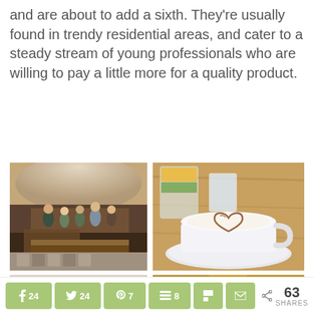and are about to add a sixth. They're usually found in trendy residential areas, and cater to a steady stream of young professionals who are willing to pay a little more for a quality product.
[Figure (photo): Interior of a trendy café with people queuing at a counter, arched ceiling, hanging plants, and patterned tile floor]
[Figure (photo): Close-up of a cappuccino with a heart latte art pattern on a white cup and saucer, with drinks and glasses behind it on a wooden table]
[Figure (photo): Decorative café interior detail with floral hanging decorations]
[Figure (photo): Pastries/baked goods displayed in a café, including tarts with dark berry toppings]
f 24  24  7  8  [Flipboard]  [Email]  63 SHARES